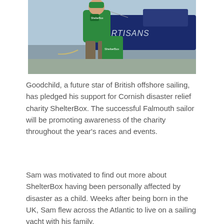[Figure (photo): A person wearing a green ShelterBox t-shirt and cap, sitting near a green ShelterBox aid box on a dock beside a sailing yacht with 'ARTISANS' written on its hull.]
Goodchild, a future star of British offshore sailing, has pledged his support for Cornish disaster relief charity ShelterBox. The successful Falmouth sailor will be promoting awareness of the charity throughout the year's races and events.
Sam was motivated to find out more about ShelterBox having been personally affected by disaster as a child. Weeks after being born in the UK, Sam flew across the Atlantic to live on a sailing yacht with his family.